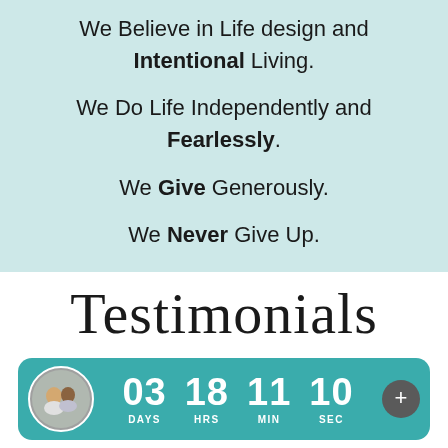We Believe in Life design and Intentional Living.
We Do Life Independently and Fearlessly.
We Give Generously.
We Never Give Up.
Testimonials
[Figure (infographic): Countdown timer bar in teal with circular avatar photo on left showing a couple, countdown numbers 03 DAYS, 18 HRS, 11 MIN, 10 SEC in white bold text, and a dark plus button on the right. Below the bar is partially visible blue circle.]